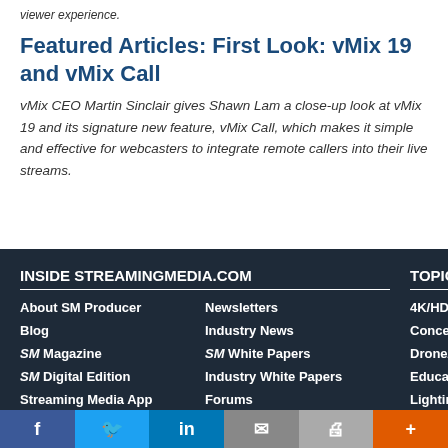viewer experience.
Featured Articles: First Look: vMix 19 and vMix Call
vMix CEO Martin Sinclair gives Shawn Lam a close-up look at vMix 19 and its signature new feature, vMix Call, which makes it simple and effective for webcasters to integrate remote callers into their live streams.
INSIDE STREAMINGMEDIA.COM
About SM Producer  Newsletters
Blog  Industry News
SM Magazine  SM White Papers
SM Digital Edition  Industry White Papers
Streaming Media App  Forums
Conference Videos  Discussion Lists
TOPICS
4K/HD Production/Gear
Concert/Performance Video
Drone/Aerial Video
Educational Video
Lighting
Sports Video